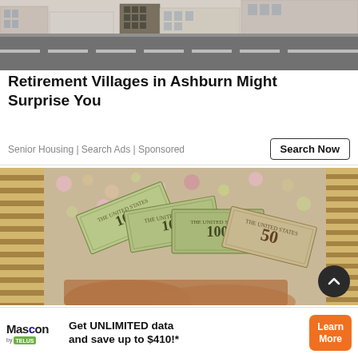[Figure (photo): Photo of a road/street scene with buildings in the background and a gray road with white dashed lane markings in the foreground.]
Retirement Villages in Ashburn Might Surprise You
Senior Housing | Search Ads | Sponsored
[Figure (photo): Elderly person's hands holding a fan of US currency bills ($100 and $50 bills), sitting on a floral patterned sofa with striped armrests.]
[Figure (infographic): Banner advertisement for Mascon by TELUS: 'Get UNLIMITED data and save up to $410!*' with a Learn More button.]